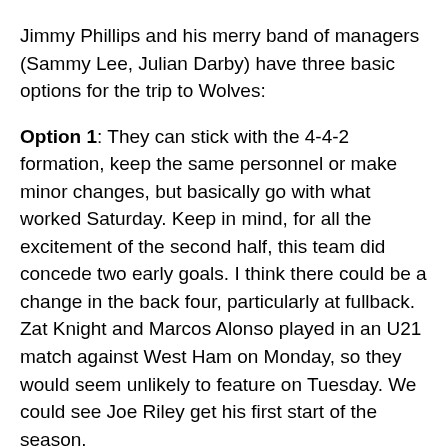Jimmy Phillips and his merry band of managers (Sammy Lee, Julian Darby) have three basic options for the trip to Wolves:
Option 1: They can stick with the 4-4-2 formation, keep the same personnel or make minor changes, but basically go with what worked Saturday. Keep in mind, for all the excitement of the second half, this team did concede two early goals. I think there could be a change in the back four, particularly at fullback. Zat Knight and Marcos Alonso played in an U21 match against West Ham on Monday, so they would seem unlikely to feature on Tuesday. We could see Joe Riley get his first start of the season.
Beyond that, no matter which option Phillips chooses, I...